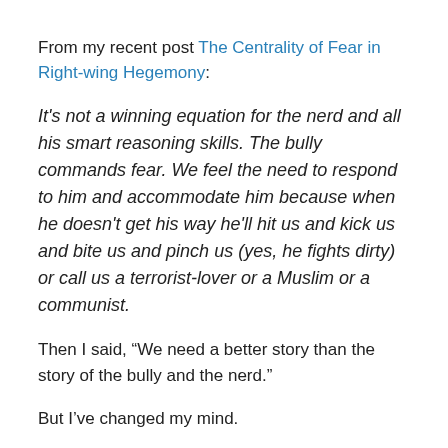From my recent post The Centrality of Fear in Right-wing Hegemony:
It's not a winning equation for the nerd and all his smart reasoning skills. The bully commands fear. We feel the need to respond to him and accommodate him because when he doesn't get his way he'll hit us and kick us and bite us and pinch us (yes, he fights dirty) or call us a terrorist-lover or a Muslim or a communist.
Then I said, “We need a better story than the story of the bully and the nerd.”
But I’ve changed my mind.
Upon further reflection, I think the story of the bully and the nerd is a great story.  I mean, just watch Back to the